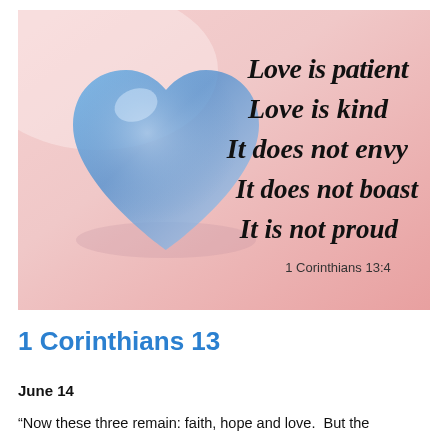[Figure (illustration): A decorative image with a blue glass heart on a pink/peach gradient background. Text overlay in bold italic black font reads: 'Love is patient / Love is kind / It does not envy / It does not boast / It is not proud' with '1 Corinthians 13:4' below in smaller serif text.]
1 Corinthians 13
June 14
“Now these three remain: faith, hope and love.  But the